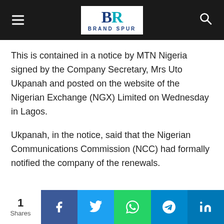Brand Spur
This is contained in a notice by MTN Nigeria signed by the Company Secretary, Mrs Uto Ukpanah and posted on the website of the Nigerian Exchange (NGX) Limited on Wednesday in Lagos.
Ukpanah, in the notice, said that the Nigerian Communications Commission (NCC) had formally notified the company of the renewals.
1 Shares | Facebook | Twitter | WhatsApp | Telegram | LinkedIn